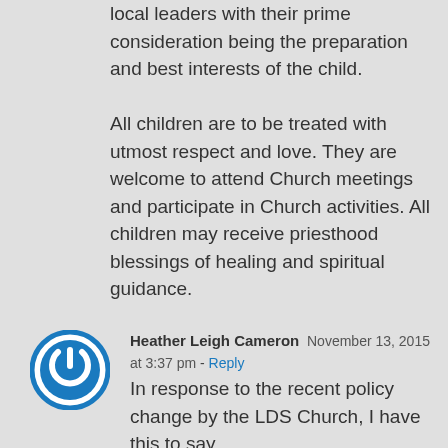local leaders with their prime consideration being the preparation and best interests of the child.
All children are to be treated with utmost respect and love. They are welcome to attend Church meetings and participate in Church activities. All children may receive priesthood blessings of healing and spiritual guidance.
[Figure (illustration): Blue circular power/person icon avatar for commenter Heather Leigh Cameron]
Heather Leigh Cameron  November 13, 2015 at 3:37 pm - Reply
In response to the recent policy change by the LDS Church, I have this to say...